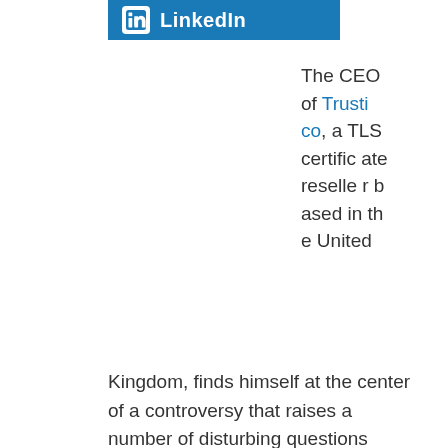LinkedIn
The CEO of Trustico, a TLS certificate reseller based in the United Kingdom, finds himself at the center of a controversy that raises a number of disturbing questions about browser-trusted security certificates.